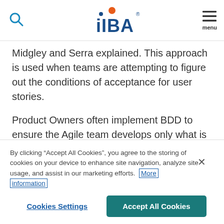IIBA logo, search icon, menu
Midgley and Serra explained. This approach is used when teams are attempting to figure out the conditions of acceptance for user stories.
Product Owners often implement BDD to ensure the Agile team develops only what is needed and that the requirements and tests are built together with no translation required. But they must be sure to keep the examples UI and technically agnostic if they want them to have
By clicking “Accept All Cookies”, you agree to the storing of cookies on your device to enhance site navigation, analyze site usage, and assist in our marketing efforts. More information
Cookies Settings
Accept All Cookies